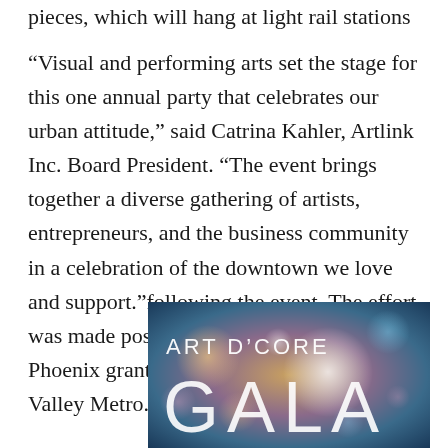pieces, which will hang at light rail stations
“Visual and performing arts set the stage for this one annual party that celebrates our urban attitude,” said Catrina Kahler, Artlink Inc. Board President. “The event brings together a diverse gathering of artists, entrepreneurs, and the business community in a celebration of the downtown we love and support.”following the event. The effort was made possible through a Reinvent Phoenix grant and in participation with Valley Metro.
[Figure (photo): Art D'Core Gala promotional image with bokeh lights background and large text reading ART D'CORE GALA in white thin letters]